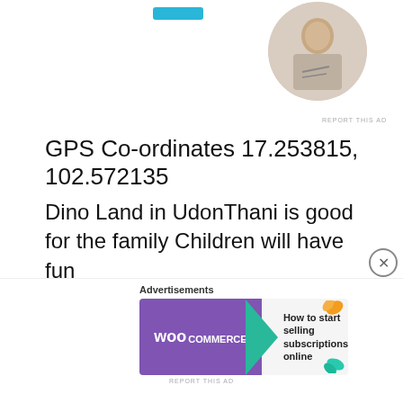[Figure (screenshot): Partial top ad area with teal button and circular profile image of a person writing]
REPORT THIS AD
GPS Co-ordinates 17.253815, 102.572135
Dino Land in UdonThani is good for the family Children will have fun
[Figure (screenshot): YouTube video thumbnail showing Dino land in UdonThani Great plac... with a colorful dinosaur figure, palm trees, and YouTube play button]
Advertisements
[Figure (screenshot): WooCommerce advertisement banner: How to start selling subscriptions online]
REPORT THIS AD